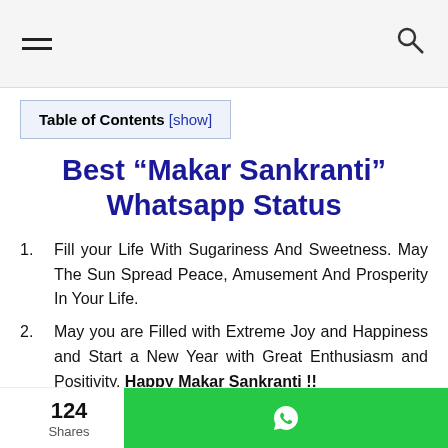[hamburger menu] [search icon]
Table of Contents [show]
Best “Makar Sankranti” Whatsapp Status
Fill your Life With Sugariness And Sweetness. May The Sun Spread Peace, Amusement And Prosperity In Your Life.
May you are Filled with Extreme Joy and Happiness and Start a New Year with Great Enthusiasm and Positivity. Happy Makar Sankranti !!
May The Sankranti Bring in New Hopes and Good
124 Shares [WhatsApp share button]